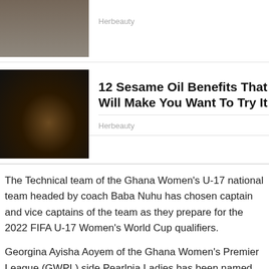[Figure (photo): Thumbnail image of a woman in traditional Indian attire with yellow clothing]
Herbeauty
[Figure (photo): Thumbnail image of sesame seeds in a dark pan]
12 Sesame Oil Benefits That Will Make You Want To Try It
Herbeauty
The Technical team of the Ghana Women's U-17 national team headed by coach Baba Nuhu has chosen captain and vice captains of the team as they prepare for the 2022 FIFA U-17 Women's World Cup qualifiers.
Georgina Ayisha Aoyem of the Ghana Women's Premier League (GWPL) side Pearlpia Ladies has been named the captain of Ghana's U-17 women's national team, the Black Maidens, and is expected to lead the team throughout the qualifiers and the tournament proper which will be staged in India later this year.